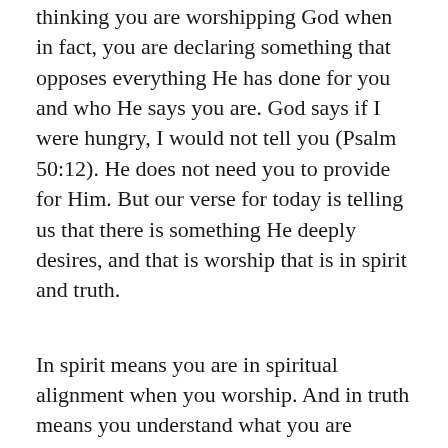thinking you are worshipping God when in fact, you are declaring something that opposes everything He has done for you and who He says you are. God says if I were hungry, I would not tell you (Psalm 50:12). He does not need you to provide for Him. But our verse for today is telling us that there is something He deeply desires, and that is worship that is in spirit and truth.
In spirit means you are in spiritual alignment when you worship. And in truth means you understand what you are saying. As a child of God born of His Spirit, Christ the Living Word dwells inside you and you inside Him. Christ is your entire environment. That means you are capable of hearing as He hears, and you have the ability to discern what pleases Him. That hearing...